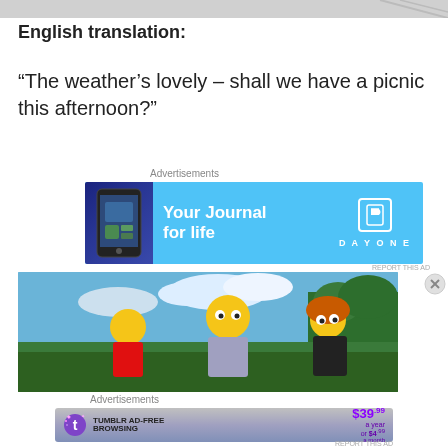[Figure (photo): Partial image at top of page, cropped]
English translation:
“The weather’s lovely – shall we have a picnic this afternoon?”
Advertisements
[Figure (other): Advertisement banner: Your Journal for life - Day One app ad with blue background]
[Figure (photo): Screenshot from The Simpsons showing characters at a picnic outdoors]
Advertisements
[Figure (other): Tumblr AD-FREE BROWSING advertisement: $39.99 a year or $4.99 a month]